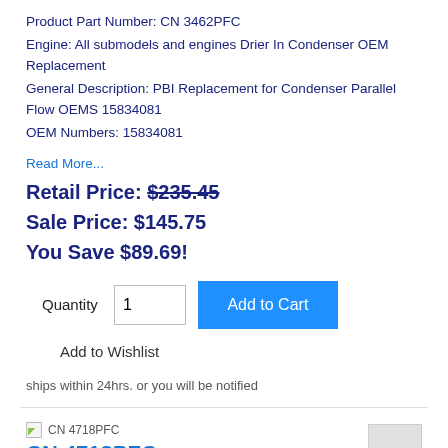Product Part Number: CN 3462PFC
Engine: All submodels and engines Drier In Condenser OEM Replacement
General Description: PBI Replacement for Condenser Parallel Flow OEMS 15834081
OEM Numbers: 15834081
Read More...
Retail Price: $235.45
Sale Price: $145.75
You Save $89.69!
Quantity  1  Add to Cart
Add to Wishlist
ships within 24hrs. or you will be notified
CN 4718PFC